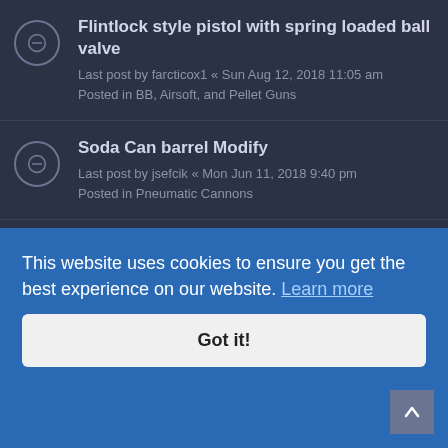Flintlock style pistol with spring loaded ball valve
Last post by farcticox1 « Sun Aug 12, 2018 11:05 am
Posted in BB, Airsoft, and Pellet Guns
Soda Can barrel Modify
Last post by jsefcik « Mon Jun 11, 2018 9:40 pm
Posted in Pneumatic Cannons
Nerf rival launcher attachment
Last post by farcticox1 « Tue Feb 27, 2018 5:26 pm
Posted in Miniature Guns
Suggestions?
Last post by WanderingNoodle « Sat Feb 25, 2017 3:31
Posted in General How-To Discussion
This website uses cookies to ensure you get the best experience on our website. Learn more
Got it!